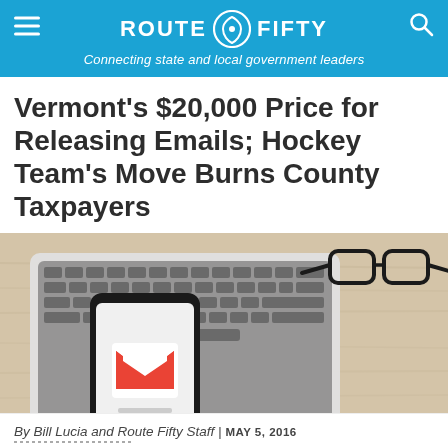ROUTE FIFTY — Connecting state and local government leaders
Vermont's $20,000 Price for Releasing Emails; Hockey Team's Move Burns County Taxpayers
[Figure (photo): A smartphone displaying the Gmail app 'M' logo, resting on an open laptop keyboard, with a pair of black-framed glasses on a light wood surface in the background.]
By Bill Lucia and Route Fifty Staff | MAY 5, 2016